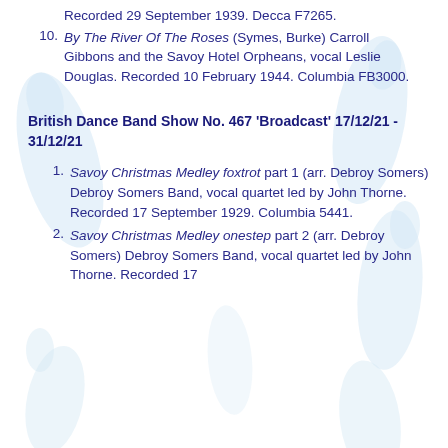Recorded 29 September 1939. Decca F7265.
By The River Of The Roses (Symes, Burke) Carroll Gibbons and the Savoy Hotel Orpheans, vocal Leslie Douglas. Recorded 10 February 1944. Columbia FB3000.
British Dance Band Show No. 467 'Broadcast' 17/12/21 - 31/12/21
Savoy Christmas Medley foxtrot part 1 (arr. Debroy Somers) Debroy Somers Band, vocal quartet led by John Thorne. Recorded 17 September 1929. Columbia 5441.
Savoy Christmas Medley onestep part 2 (arr. Debroy Somers) Debroy Somers Band, vocal quartet led by John Thorne. Recorded 17